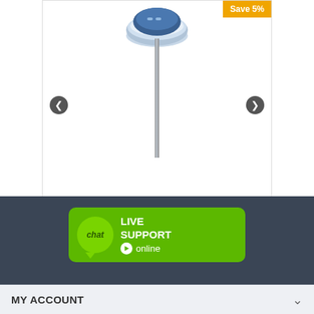[Figure (photo): GPS receiver device (SP60) mounted on a pole, shown in a white product image box with left/right navigation arrows and a Save 5% badge in the top-right corner]
SP60 GIS 30/30 –Single Receiver Kit
$4,245.00 $4,032.00
[Figure (infographic): Green chat support banner with chat bubble icon and text: LIVE SUPPORT online with arrow]
MY ACCOUNT